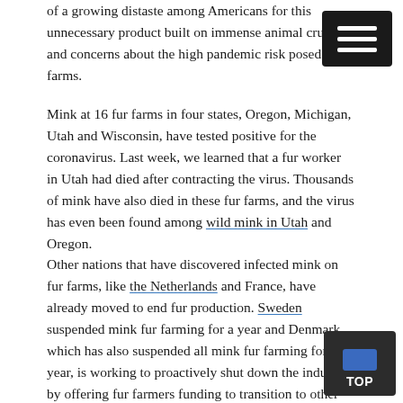of a growing distaste among Americans for this unnecessary product built on immense animal cruelty and concerns about the high pandemic risk posed by farms.
Mink at 16 fur farms in four states, Oregon, Michigan, Utah and Wisconsin, have tested positive for the coronavirus. Last week, we learned that a fur worker in Utah had died after contracting the virus. Thousands of mink have also died in these fur farms, and the virus has even been found among wild mink in Utah and Oregon.
Other nations that have discovered infected mink on fur farms, like the Netherlands and France, have already moved to end fur production. Sweden suspended mink fur farming for a year and Denmark, which has also suspended all mink fur farming for a year, is working to proactively shut down the industry by offering fur farmers funding to transition to other livelihoods.